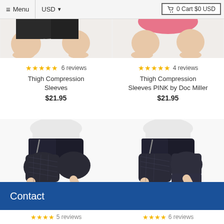Menu | USD ▼ | 0 Cart $0 USD
[Figure (photo): Partial view of legs/thighs wearing black compression sleeves, two product images side by side (left: black shorts, right: pink top)]
★★★★★ 6 reviews
Thigh Compression Sleeves
$21.95
★★★★★ 4 reviews
Thigh Compression Sleeves PINK by Doc Miller
$21.95
[Figure (photo): Person kneeling wearing black thigh compression sleeves on both legs, white shirt and dark shorts (left product)]
[Figure (photo): Person kneeling wearing black thigh compression sleeve, white shirt and dark shorts (right product)]
Contact
★★★★ 5 reviews | ★★★★ 6 reviews